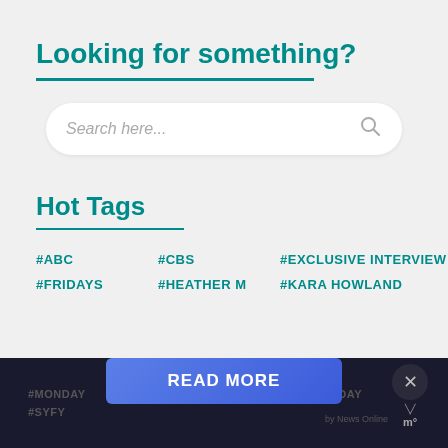Looking for something?
[Figure (other): Search input box with placeholder text 'Search here...' and a magnifying glass icon]
Hot Tags
#ABC
#CBS
#EXCLUSIVE INTERVIEW
#FRIDAYS
#HEATHER M
#KARA HOWLAND
#MONDAY  #SUNDAY  #SYFY  READ MORE  by News Online